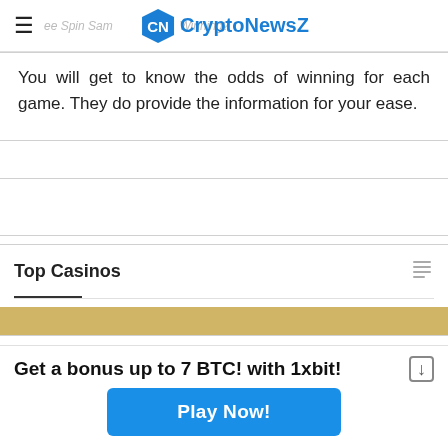CryptoNewsZ
You will get to know the odds of winning for each game. They do provide the information for your ease.
[Figure (other): Advertisement placeholder box]
Top Casinos
Get a bonus up to 7 BTC! with 1xbit!
Play Now!